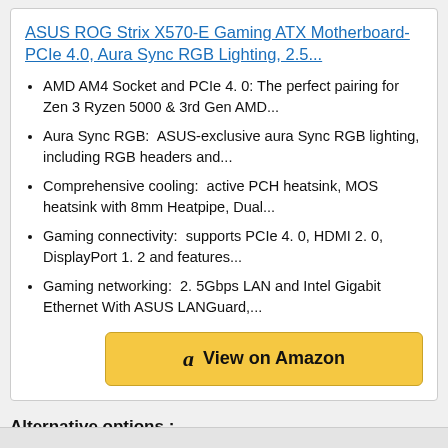ASUS ROG Strix X570-E Gaming ATX Motherboard- PCIe 4.0, Aura Sync RGB Lighting, 2.5...
AMD AM4 Socket and PCIe 4. 0: The perfect pairing for Zen 3 Ryzen 5000 & 3rd Gen AMD...
Aura Sync RGB:  ASUS-exclusive aura Sync RGB lighting, including RGB headers and...
Comprehensive cooling:  active PCH heatsink, MOS heatsink with 8mm Heatpipe, Dual...
Gaming connectivity:  supports PCIe 4. 0, HDMI 2. 0, DisplayPort 1. 2 and features...
Gaming networking:  2. 5Gbps LAN and Intel Gigabit Ethernet With ASUS LANGuard,...
[Figure (other): View on Amazon button with Amazon logo]
Alternative options :-